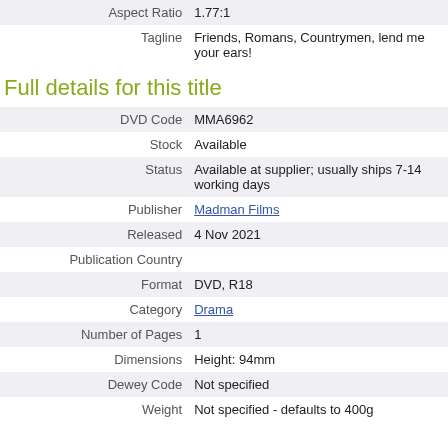| Aspect Ratio | 1.77:1 |
| Tagline | Friends, Romans, Countrymen, lend me your ears! |
Full details for this title
| DVD Code | MMA6962 |
| Stock | Available |
| Status | Available at supplier; usually ships 7-14 working days |
| Publisher | Madman Films |
| Released | 4 Nov 2021 |
| Publication Country |  |
| Format | DVD, R18 |
| Category | Drama |
| Number of Pages | 1 |
| Dimensions | Height: 94mm |
| Dewey Code | Not specified |
| Weight | Not specified - defaults to 400g |